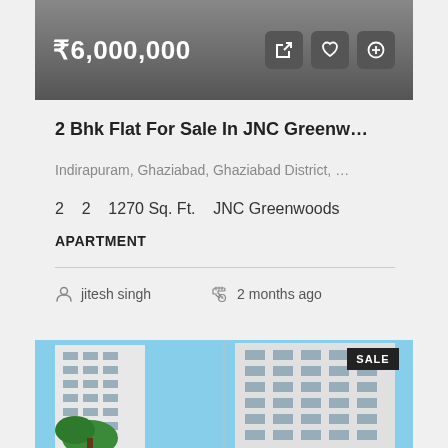₹6,000,000
2 Bhk Flat For Sale In JNC Greenw…
Indirapuram, Ghaziabad, Ghaziabad District, …
2   2   1270 Sq. Ft.   JNC Greenwoods
APARTMENT
jitesh singh
2 months ago
[Figure (photo): Exterior photo of a multi-storey white residential apartment building with balconies and a green tree in the foreground. A 'SALE' badge is shown in the top right corner.]